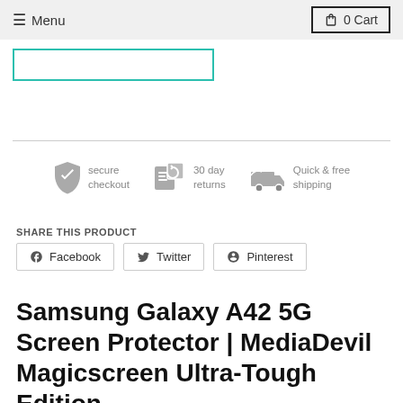≡ Menu   🔒 0 Cart
[Figure (screenshot): Teal-bordered search input box]
[Figure (infographic): Three trust badge icons: secure checkout, 30 day returns, Quick & free shipping]
SHARE THIS PRODUCT
Facebook   Twitter   Pinterest
Samsung Galaxy A42 5G Screen Protector | MediaDevil Magicscreen Ultra-Tough Edition.